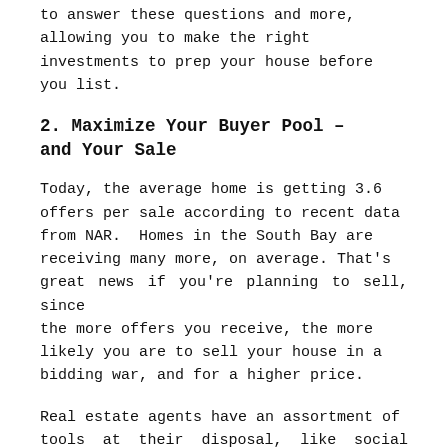to answer these questions and more, allowing you to make the right investments to prep your house before you list.
2. Maximize Your Buyer Pool – and Your Sale
Today, the average home is getting 3.6 offers per sale according to recent data from NAR. Homes in the South Bay are receiving many more, on average. That's great news if you're planning to sell, since the more offers you receive, the more likely you are to sell your house in a bidding war, and for a higher price.
Real estate agents have an assortment of tools at their disposal, like social media followers and agency resources, that will